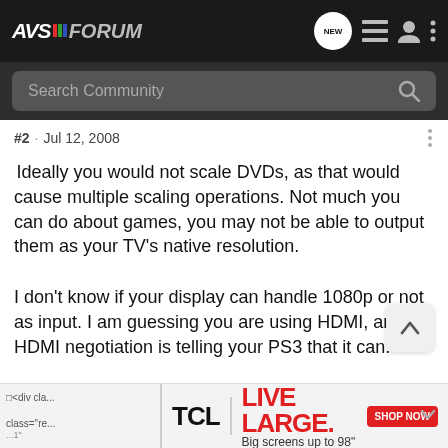AVS FORUM
Search Community
#2 · Jul 12, 2008
Ideally you would not scale DVDs, as that would cause multiple scaling operations. Not much you can do about games, you may not be able to output them as your TV's native resolution.
I don't know if your display can handle 1080p or not as input. I am guessing you are using HDMI, and the HDMI negotiation is telling your PS3 that it can.
[Figure (other): TCL advertisement: LIVE LARGE. Big screens up to 98". SHOP NOW button.]